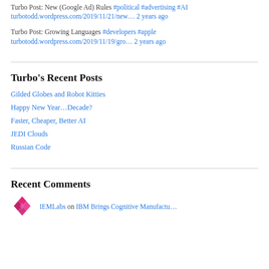Turbo Post: New (Google Ad) Rules #political #advertising #AI turbotodd.wordpress.com/2019/11/21/new… 2 years ago
Turbo Post: Growing Languages #developers #apple turbotodd.wordpress.com/2019/11/19/gro… 2 years ago
Turbo's Recent Posts
Gilded Globes and Robot Kitties
Happy New Year…Decade?
Faster, Cheaper, Better AI
JEDI Clouds
Russian Code
Recent Comments
IEMLabs on IBM Brings Cognitive Manufactu…